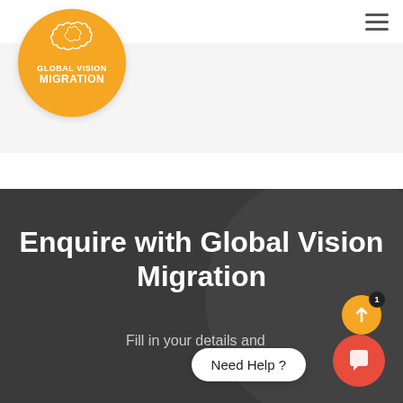[Figure (logo): Global Vision Migration orange circular logo with Australia map outline and white text reading GLOBAL VISION MIGRATION]
LETTER FOR TOURIST VISA
Enquire with Global Vision Migration
Fill in your details and
Need Help ?